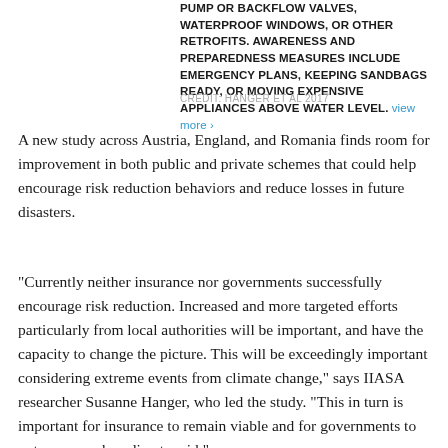PUMP OR BACKFLOW VALVES, WATERPROOF WINDOWS, OR OTHER RETROFITS. AWARENESS AND PREPAREDNESS MEASURES INCLUDE EMERGENCY PLANS, KEEPING SANDBAGS READY, OR MOVING EXPENSIVE APPLIANCES ABOVE WATER LEVEL. view more ›
CREDIT: HANGER ET AL 2017
A new study across Austria, England, and Romania finds room for improvement in both public and private schemes that could help encourage risk reduction behaviors and reduce losses in future disasters.
"Currently neither insurance nor governments successfully encourage risk reduction. Increased and more targeted efforts particularly from local authorities will be important, and have the capacity to change the picture. This will be exceedingly important considering extreme events from climate change," says IIASA researcher Susanne Hanger, who led the study. "This in turn is important for insurance to remain viable and for governments to not overspend on disaster aid."